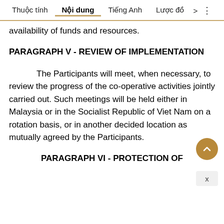Thuộc tính   Nội dung   Tiếng Anh   Lược đồ  >  ⋮
availability of funds and resources.
PARAGRAPH V - REVIEW OF IMPLEMENTATION
The Participants will meet, when necessary, to review the progress of the co-operative activities jointly carried out. Such meetings will be held either in Malaysia or in the Socialist Republic of Viet Nam on a rotation basis, or in another decided location as mutually agreed by the Participants.
PARAGRAPH VI - PROTECTION OF